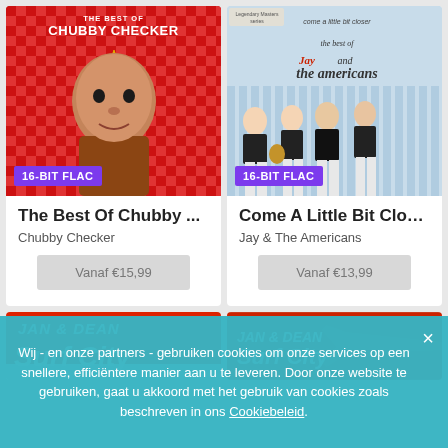[Figure (photo): Album cover: The Best Of Chubby Checker - Cameo Parkway, red checkerboard background with Chubby Checker's portrait, 16-BIT FLAC badge]
[Figure (photo): Album cover: Come A Little Bit Closer - Jay & The Americans, blue-grey background with four band members, 16-BIT FLAC badge]
The Best Of Chubby ...
Chubby Checker
Vanaf €15,99
Come A Little Bit Clos...
Jay & The Americans
Vanaf €13,99
[Figure (photo): Partial album cover: Jan & Dean - surf/car themed album, red background with white text, partially visible]
Wij - en onze partners - gebruiken cookies om onze services op een snellere, efficiëntere manier aan u te leveren. Door onze website te gebruiken, gaat u akkoord met het gebruik van cookies zoals beschreven in ons Cookiebeleid.